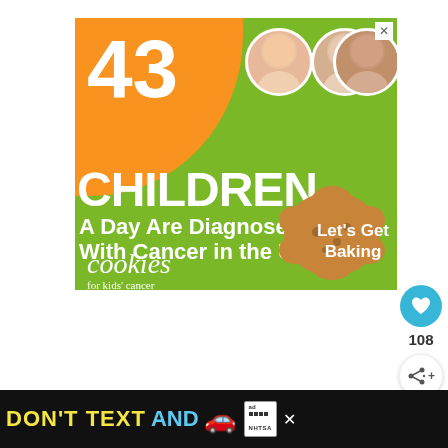[Figure (advertisement): Green advertisement banner for 'Cookies for Kids Cancer'. Large orange circle with '43' in white. Text reads '43 CHILDREN A Day Are Diagnosed With Cancer in the U.S.' with three circular child photos at top right. Cookies for Kids Cancer logo and 'Let's Get Baking' text with a cookie image.]
[Figure (infographic): Like button (blue circle with heart icon), count '108', and share button on the right side of the page.]
[Figure (advertisement): Black bottom banner ad: 'DON'T TEXT AND' in yellow/blue text with red car emoji, NHTSA logo and ad badge, and close X button.]